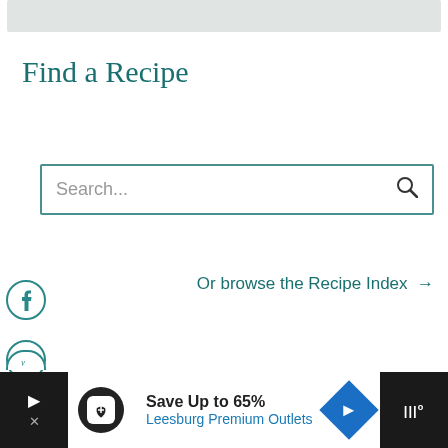[Figure (screenshot): Gray banner/image area at top of page]
Find a Recipe
[Figure (screenshot): Search input box with placeholder text 'Search...' and a magnifying glass icon]
Or browse the Recipe Index →
[Figure (screenshot): Social media share icons on the left side: Facebook, Twitter, Pinterest (partial Yummly visible at bottom)]
[Figure (screenshot): Advertisement banner at bottom: 'Save Up to 65% Leesburg Premium Outlets' with logo and navigation arrow]